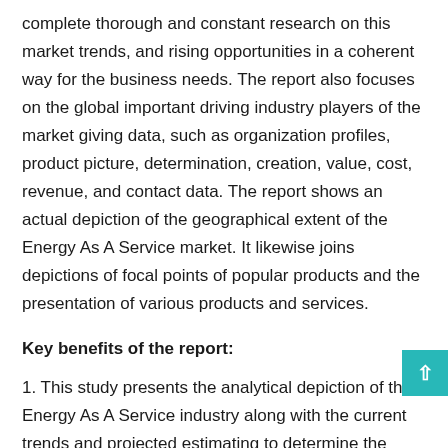complete thorough and constant research on this market trends, and rising opportunities in a coherent way for the business needs. The report also focuses on the global important driving industry players of the market giving data, such as organization profiles, product picture, determination, creation, value, cost, revenue, and contact data. The report shows an actual depiction of the geographical extent of the Energy As A Service market. It likewise joins depictions of focal points of popular products and the presentation of various products and services.
Key benefits of the report:
1. This study presents the analytical depiction of the Energy As A Service industry along with the current trends and projected estimating to determine the investment pockets.
2. The report presents information related to key drivers, restraints, and opportunities along with a detailed analysis of the Energy As A Service market share.